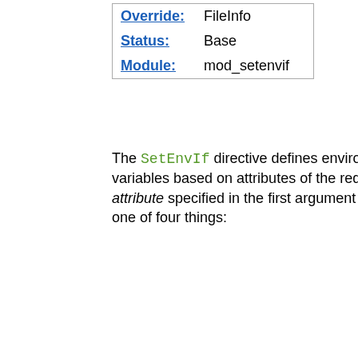| Override: | FileInfo |
| Status: | Base |
| Module: | mod_setenvif |
The SetEnvIf directive defines environment variables based on attributes of the request. The attribute specified in the first argument can be one of four things:
An HTTP request header field (see RFC2616 for more information about these); for example: Host, User-Agent, Referer, and Accept-Language. A regular expression may be used to